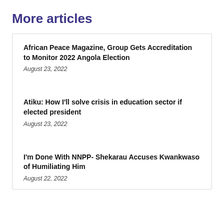More articles
African Peace Magazine, Group Gets Accreditation to Monitor 2022 Angola Election
August 23, 2022
Atiku: How I'll solve crisis in education sector if elected president
August 23, 2022
I'm Done With NNPP- Shekarau Accuses Kwankwaso of Humiliating Him
August 22, 2022